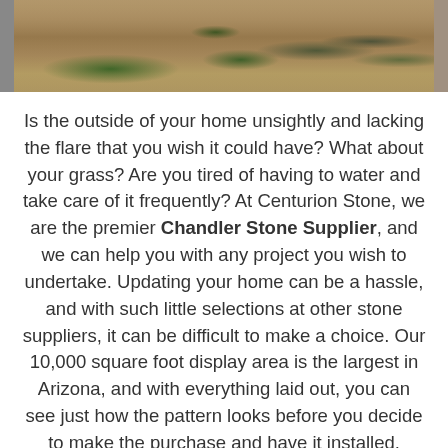[Figure (photo): Exterior photo of a desert landscape home with stone facade, cacti, gravel yard, and a garage visible in the background.]
Is the outside of your home unsightly and lacking the flare that you wish it could have? What about your grass? Are you tired of having to water and take care of it frequently? At Centurion Stone, we are the premier Chandler Stone Supplier, and we can help you with any project you wish to undertake. Updating your home can be a hassle, and with such little selections at other stone suppliers, it can be difficult to make a choice. Our 10,000 square foot display area is the largest in Arizona, and with everything laid out, you can see just how the pattern looks before you decide to make the purchase and have it installed.